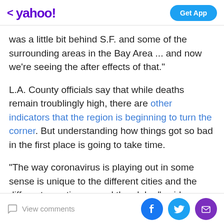yahoo! | Get App
was a little bit behind S.F. and some of the surrounding areas in the Bay Area ... and now we're seeing the after effects of that."
L.A. County officials say that while deaths remain troublingly high, there are other indicators that the region is beginning to turn the corner. But understanding how things got so bad in the first place is going to take time.
"The way coronavirus is playing out in some sense is unique to the different cities and the different counties around the globe," said Amanda Daflos, chief innovation officer for the city of L.A. "We're monitoring everything
View comments